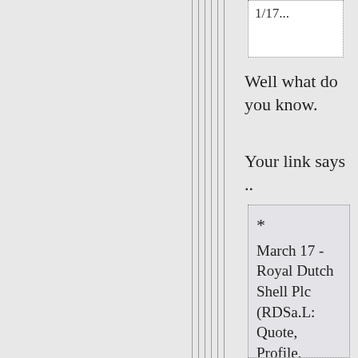[Figure (screenshot): Top portion of a dotted-border box showing partial text content, cut off at top of page]
Well what do you know.
Your link says ..
* March 17 - Royal Dutch Shell Plc (RDSa.L: Quote, Profile, Research) said start-up of the Perdido